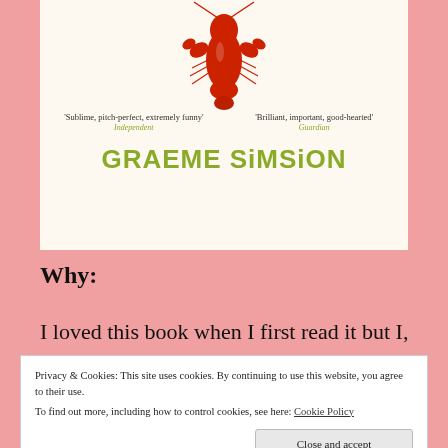[Figure (illustration): Book cover for a novel by Graeme Simsion featuring a red lobster illustration, two blurbs ('Sublime, pitch-perfect, extremely funny' - Independent; 'Brilliant, important, good-hearted' - Guardian), and the author name GRAEME SiMSiON in green lettering on a cream background.]
Why:
I loved this book when I first read it but I,
Privacy & Cookies: This site uses cookies. By continuing to use this website, you agree to their use.
To find out more, including how to control cookies, see here: Cookie Policy
between Rosie and Don and I kind of